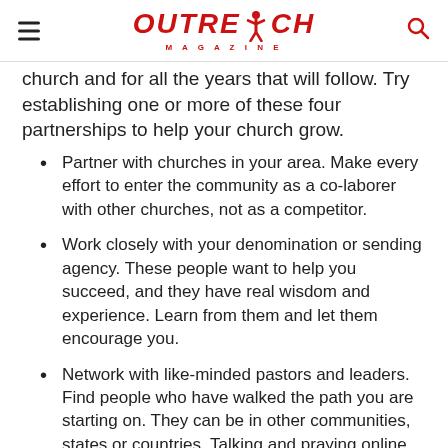Outreach Magazine
church and for all the years that will follow. Try establishing one or more of these four partnerships to help your church grow.
Partner with churches in your area. Make every effort to enter the community as a co-laborer with other churches, not as a competitor.
Work closely with your denomination or sending agency. These people want to help you succeed, and they have real wisdom and experience. Learn from them and let them encourage you.
Network with like-minded pastors and leaders. Find people who have walked the path you are starting on. They can be in other communities, states or countries. Talking and praying online with these people will enrich your soul and strengthen your ministry.